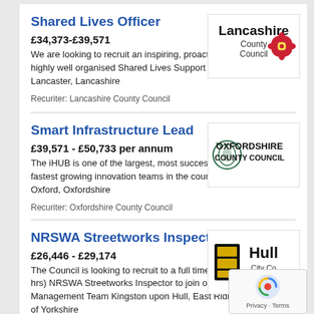Shared Lives Officer
£34,373-£39,571
We are looking to recruit an inspiring, proactive, and highly well organised Shared Lives Support Officer. Lancaster, Lancashire
Recuriter: Lancashire County Council
[Figure (logo): Lancashire County Council logo with red rose emblem]
Smart Infrastructure Lead
£39,571 - £50,733 per annum
The iHUB is one of the largest, most successful and fastest growing innovation teams in the country. Oxford, Oxfordshire
Recuriter: Oxfordshire County Council
[Figure (logo): Oxfordshire County Council logo with ox emblem]
NRSWA Streetworks Inspector
£26,446 - £29,174
The Council is looking to recruit to a full time (37 hrs) NRSWA Streetworks Inspector to join our Asset Management Team Kingston upon Hull, East Riding of Yorkshire
[Figure (logo): Hull City Council logo]